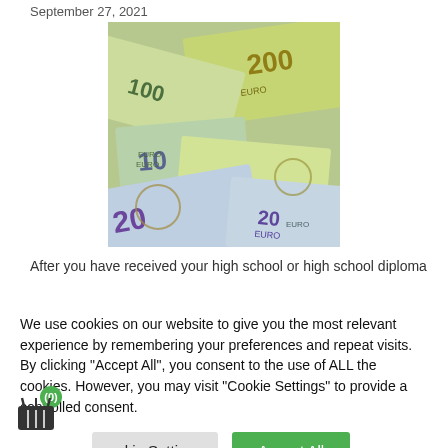September 27, 2021
[Figure (photo): Scattered Euro banknotes including 200, 100, 20, and 10 Euro bills photographed from above]
After you have received your high school or high school diploma
We use cookies on our website to give you the most relevant experience by remembering your preferences and repeat visits. By clicking "Accept All", you consent to the use of ALL the cookies. However, you may visit "Cookie Settings" to provide a controlled consent.